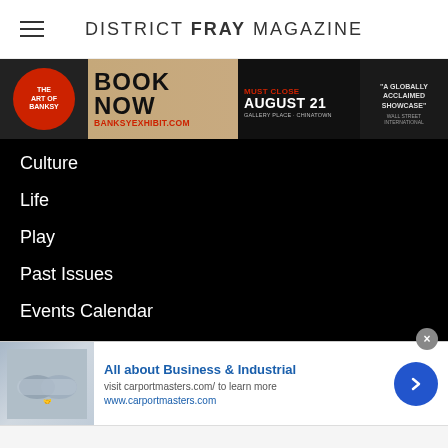DISTRICT FRAY MAGAZINE
[Figure (infographic): Banner advertisement for The Art of Banksy exhibition. Red circle logo with 'THE ART OF BANKSY' text. Large text 'BOOK NOW' with URL 'BANKSYEXHIBIT.COM'. Red text 'MUST CLOSE AUGUST 21'. Location: 'GALLERY PLACE · CHINATOWN'. Quote: 'A GLOBALLY ACCLAIMED SHOWCASE' - Wall Street International.]
Culture
Life
Play
Past Issues
Events Calendar
OUR CITIES
Washington D.C.
Jacksonville
[Figure (infographic): Infolinks logo bar - blue infolinks branding label]
[Figure (infographic): Bottom overlay advertisement. Handshake photo on left. Title: 'All about Business & Industrial'. Subtitle: 'visit carportmasters.com/ to learn more'. URL: 'www.carportmasters.com'. Blue circular arrow button on right. Close (x) button at top right.]